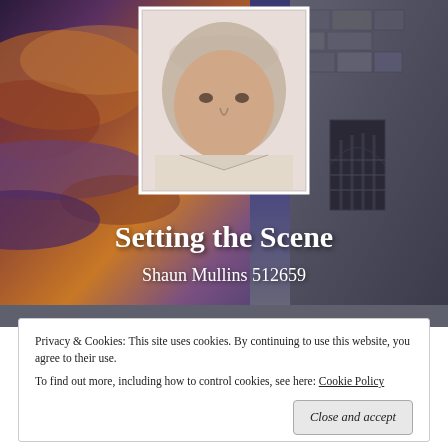[Figure (photo): Hero background image with dramatic sky (purple, orange clouds on left) and stone church/building on right. Author portrait photo centered at top showing a middle-aged balding man in a light jacket.]
Setting the Scene
Shaun Mullins 512659
Privacy & Cookies: This site uses cookies. By continuing to use this website, you agree to their use.
To find out more, including how to control cookies, see here: Cookie Policy
Close and accept